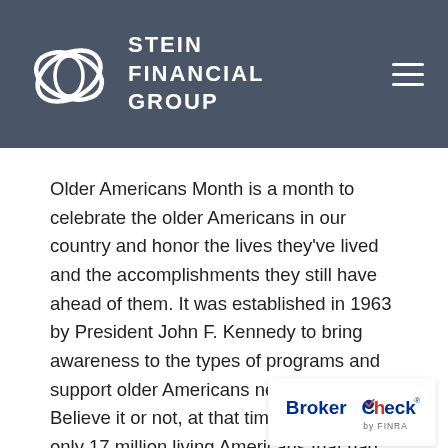Stein Financial Group
Older Americans Month is a month to celebrate the older Americans in our country and honor the lives they've lived and the accomplishments they still have ahead of them. It was established in 1963 by President John F. Kennedy to bring awareness to the types of programs and support older Americans need to succeed. Believe it or not, at that time there were only 17 million living Americans that had reached their 65th birthday!¹ Today there are 54.1 million.² This goes to show the importance of recognizing and support
[Figure (logo): BrokerCheck by FINRA logo badge]